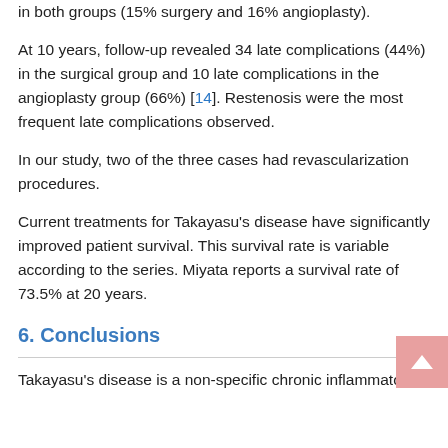in both groups (15% surgery and 16% angioplasty).
At 10 years, follow-up revealed 34 late complications (44%) in the surgical group and 10 late complications in the angioplasty group (66%) [14]. Restenosis were the most frequent late complications observed.
In our study, two of the three cases had revascularization procedures.
Current treatments for Takayasu's disease have significantly improved patient survival. This survival rate is variable according to the series. Miyata reports a survival rate of 73.5% at 20 years.
6. Conclusions
Takayasu's disease is a non-specific chronic inflammatory